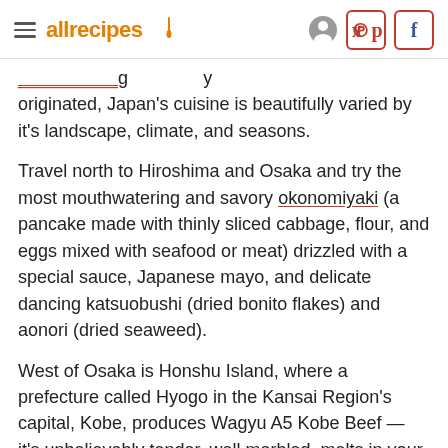allrecipes
originated, Japan's cuisine is beautifully varied by it's landscape, climate, and seasons.
Travel north to Hiroshima and Osaka and try the most mouthwatering and savory okonomiyaki (a pancake made with thinly sliced cabbage, flour, and eggs mixed with seafood or meat) drizzled with a special sauce, Japanese mayo, and delicate dancing katsuobushi (dried bonito flakes) and aonori (dried seaweed).
West of Osaka is Honshu Island, where a prefecture called Hyogo in the Kansai Region's capital, Kobe, produces Wagyu A5 Kobe Beef — it's unbelievably tender, well marbled, melts in your mouth, and should